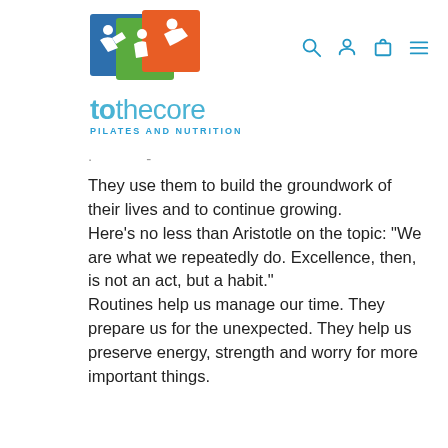[Figure (logo): To The Core Pilates and Nutrition logo with three overlapping colored squares (blue, green, orange) showing active figures, and the text 'tothecore PILATES AND NUTRITION']
They use them to build the groundwork of their lives and to continue growing. Here's no less than Aristotle on the topic: "We are what we repeatedly do. Excellence, then, is not an act, but a habit." Routines help us manage our time. They prepare us for the unexpected. They help us preserve energy, strength and worry for more important things.